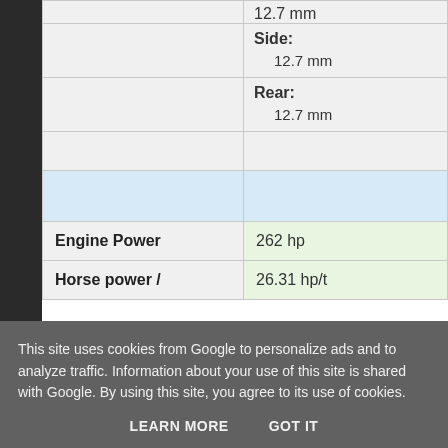| Attribute | Value |
| --- | --- |
| Side: | 12.7 mm |
| Rear: | 12.7 mm |
|  |  |
|  |  |
| Engine Power | 262 hp |
| Horse power / | 26.31 hp/t |
This site uses cookies from Google to personalize ads and to analyze traffic. Information about your use of this site is shared with Google. By using this site, you agree to its use of cookies.
LEARN MORE   GOT IT